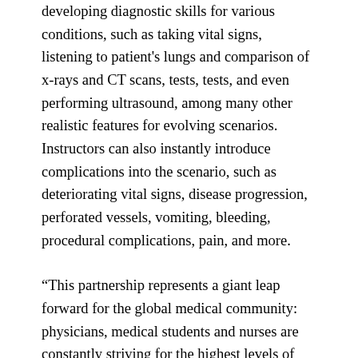developing diagnostic skills for various conditions, such as taking vital signs, listening to patient's lungs and comparison of x-rays and CT scans, tests, tests, and even performing ultrasound, among many other realistic features for evolving scenarios. Instructors can also instantly introduce complications into the scenario, such as deteriorating vital signs, disease progression, perforated vessels, vomiting, bleeding, procedural complications, pain, and more.
“This partnership represents a giant leap forward for the global medical community: physicians, medical students and nurses are constantly striving for the highest levels of education to ensure best practice and best patient care early on. clinical hours or residences, “said David King Lassman, CEO at GigXR. “We are honored to work with Dr. Cohen and his team, whose exceptional commitment to research and innovation in medicine and medical education has left a lasting legacy in all areas of medical practice. Introducing the XR Procedure Training Suite to University of Michigan medical students and resident interns will only further prepare its future elite medical